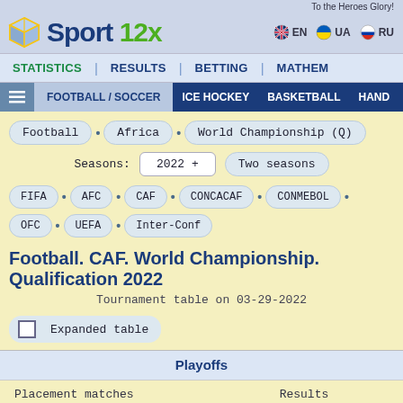To the Heroes Glory!
Sport 12x
EN  UA  RU
STATISTICS | RESULTS | BETTING | MATHEM
FOOTBALL / SOCCER  ICE HOCKEY  BASKETBALL  HAND
Football • Africa • World Championship (Q)
Seasons: 2022 +  Two seasons
FIFA • AFC • CAF • CONCACAF • CONMEBOL • OFC • UEFA • Inter-Conf
Football. CAF. World Championship. Qualification 2022
Tournament table on 03-29-2022
Expanded table
Playoffs
Placement matches   Results